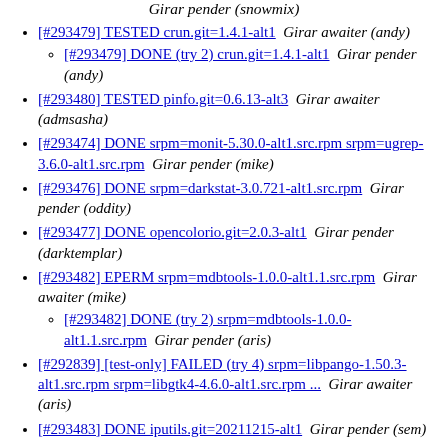Girar pender (snowmix)
[#293479] TESTED crun.git=1.4.1-alt1  Girar awaiter (andy)
[#293479] DONE (try 2) crun.git=1.4.1-alt1  Girar pender (andy)
[#293480] TESTED pinfo.git=0.6.13-alt3  Girar awaiter (admsasha)
[#293474] DONE srpm=monit-5.30.0-alt1.src.rpm srpm=ugrep-3.6.0-alt1.src.rpm  Girar pender (mike)
[#293476] DONE srpm=darkstat-3.0.721-alt1.src.rpm  Girar pender (oddity)
[#293477] DONE opencolorio.git=2.0.3-alt1  Girar pender (darktemplar)
[#293482] EPERM srpm=mdbtools-1.0.0-alt1.1.src.rpm  Girar awaiter (mike)
[#293482] DONE (try 2) srpm=mdbtools-1.0.0-alt1.1.src.rpm  Girar pender (aris)
[#292839] [test-only] FAILED (try 4) srpm=libpango-1.50.3-alt1.src.rpm srpm=libgtk4-4.6.0-alt1.src.rpm ...  Girar awaiter (aris)
[#293483] DONE iputils.git=20211215-alt1  Girar pender (sem)
[#293484] p10 TESTED iputils.git=20211215-alt1  Girar awaiter (sem)
[#293484] p10 EPERM (try 2) iputils.git=20211215-